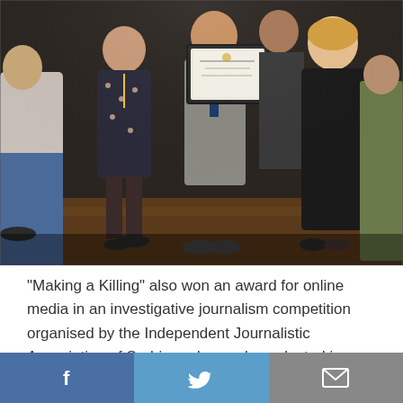[Figure (photo): Group of people standing together at an award ceremony; one person in the center holds up a framed certificate/award. The group includes men and women in various outfits against a dark background.]
"Making a Killing" also won an award for online media in an investigative journalism competition organised by the Independent Journalistic Association of Serbia and was also selected in October by voters in an online poll recognising exemplary reporting.
Facebook | Twitter | Email